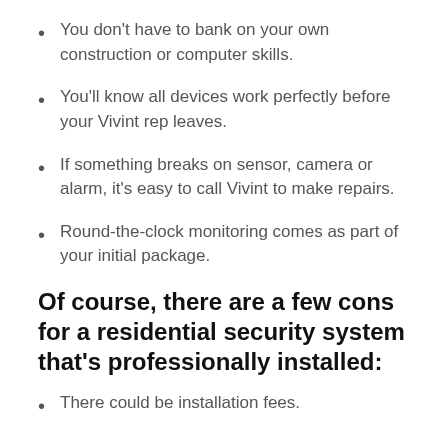You don't have to bank on your own construction or computer skills.
You'll know all devices work perfectly before your Vivint rep leaves.
If something breaks on sensor, camera or alarm, it's easy to call Vivint to make repairs.
Round-the-clock monitoring comes as part of your initial package.
Of course, there are a few cons for a residential security system that's professionally installed:
There could be installation fees.